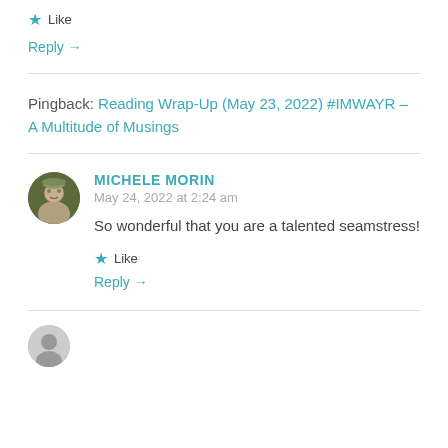★ Like
Reply →
Pingback: Reading Wrap-Up (May 23, 2022) #IMWAYR – A Multitude of Musings
MICHELE MORIN
May 24, 2022 at 2:24 am
So wonderful that you are a talented seamstress!
★ Like
Reply →